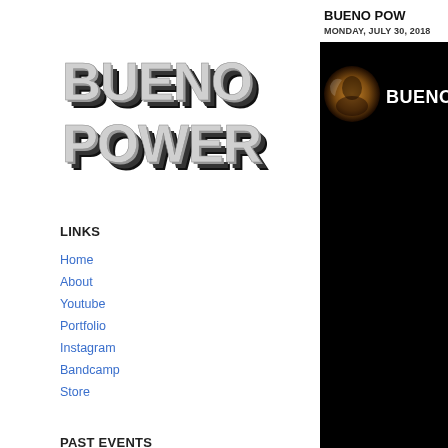[Figure (logo): Bueno Power logo — bold 3D metallic chrome lettering on two lines: BUENO / POWER]
LINKS
Home
About
Youtube
Portfolio
Instagram
Bandcamp
Store
PAST EVENTS
► 2022 (6)
► 2021 (6)
► 2020 (5)
BUENO POW
MONDAY, JULY 30, 2018
[Figure (photo): Dark image showing a person's face partially lit in amber/gold light on the left; white bold text BUENO on the right, on black background.]